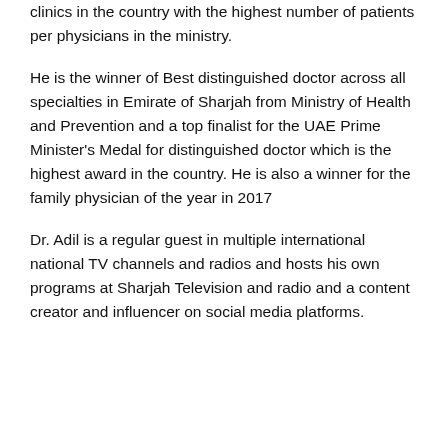clinics in the country with the highest number of patients per physicians in the ministry.
He is the winner of Best distinguished doctor across all specialties in Emirate of Sharjah from Ministry of Health and Prevention and a top finalist for the UAE Prime Minister's Medal for distinguished doctor which is the highest award in the country. He is also a winner for the family physician of the year in 2017
Dr. Adil is a regular guest in multiple international national TV channels and radios and hosts his own programs at Sharjah Television and radio and a content creator and influencer on social media platforms.